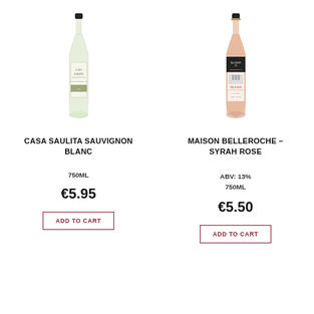[Figure (illustration): White wine bottle - Casa Saulita Sauvignon Blanc]
CASA SAULITA SAUVIGNON BLANC
750ML
€5.95
ADD TO CART
[Figure (illustration): Rose wine bottle - Maison Belleroche Syrah Rose]
MAISON BELLEROCHE – SYRAH ROSE
ABV: 13%
750ML
€5.50
ADD TO CART